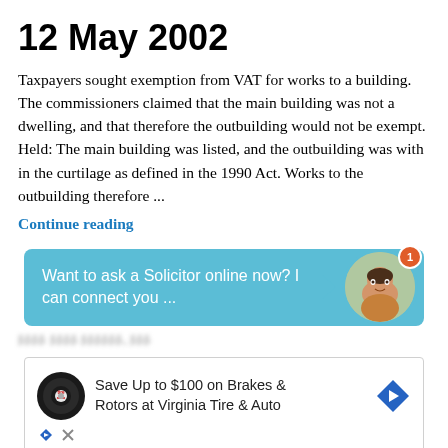12 May 2002
Taxpayers sought exemption from VAT for works to a building. The commissioners claimed that the main building was not a dwelling, and that therefore the outbuilding would not be exempt. Held: The main building was listed, and the outbuilding was with in the curtilage as defined in the 1990 Act. Works to the outbuilding therefore ...
Continue reading
Want to ask a Solicitor online now? I can connect you ...
[Figure (screenshot): Chat widget with a teal background containing text 'Want to ask a Solicitor online now? I can connect you ...' with an avatar image of a woman and a notification badge showing 1]
Save Up to $100 on Brakes & Rotors at Virginia Tire & Auto